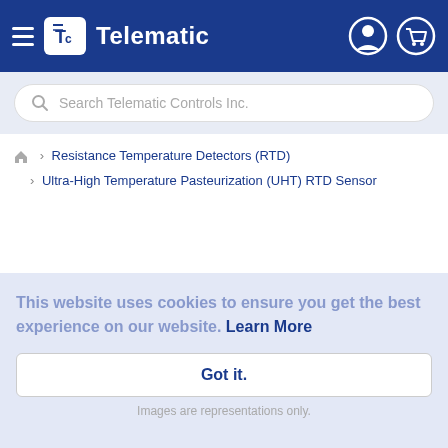Telematic
Search Telematic Controls Inc.
> Resistance Temperature Detectors (RTD) > Ultra-High Temperature Pasteurization (UHT) RTD Sensor
This website uses cookies to ensure you get the best experience on our website. Learn More
Got it.
Images are representations only.